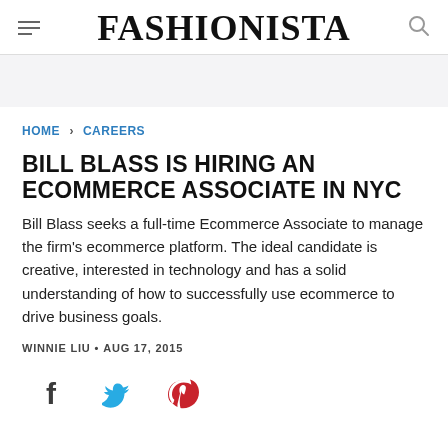FASHIONISTA
HOME > CAREERS
BILL BLASS IS HIRING AN ECOMMERCE ASSOCIATE IN NYC
Bill Blass seeks a full-time Ecommerce Associate to manage the firm's ecommerce platform. The ideal candidate is creative, interested in technology and has a solid understanding of how to successfully use ecommerce to drive business goals.
WINNIE LIU • AUG 17, 2015
[Figure (infographic): Social sharing icons: Facebook (dark blue f), Twitter (blue bird), Pinterest (red P)]